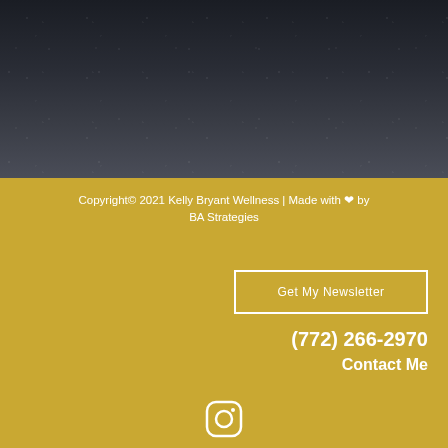[Figure (photo): Dark textured background resembling asphalt or granite with a speckled surface, fading from dark charcoal to a lighter grey band]
Copyright© 2021 Kelly Bryant Wellness | Made with ❤ by BA Strategies
Get My Newsletter
(772) 266-2970
Contact Me
[Figure (logo): Instagram icon (circle with rounded square outline and small circle inside), white outline style]